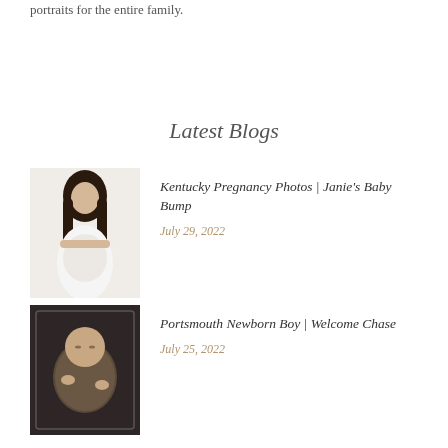portraits for the entire family.
Latest Blogs
[Figure (photo): Thumbnail photo of a pregnant woman in a white off-shoulder dress with long dark hair, looking down]
Kentucky Pregnancy Photos | Janie's Baby Bump
July 29, 2022
[Figure (photo): Thumbnail photo of a newborn baby boy wrapped in a dark textured wrap, lying on his back]
Portsmouth Newborn Boy | Welcome Chase
July 25, 2022